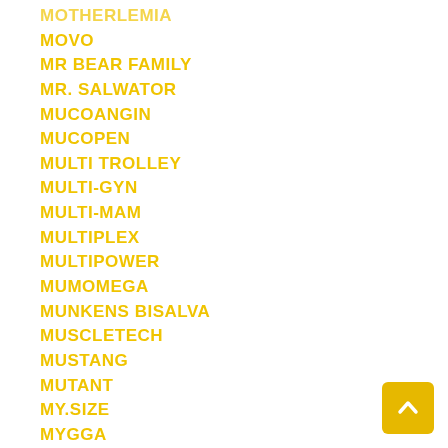MOVO
MR BEAR FAMILY
MR. SALWATOR
MUCOANGIN
MUCOPEN
MULTI TROLLEY
MULTI-GYN
MULTI-MAM
MULTIPLEX
MULTIPOWER
MUMOMEGA
MUNKENS BISALVA
MUSCLETECH
MUSTANG
MUTANT
MY.SIZE
MYGGA
MYLAN
MYMAGICWAND
MYVEGIES
NA14
NAILNER